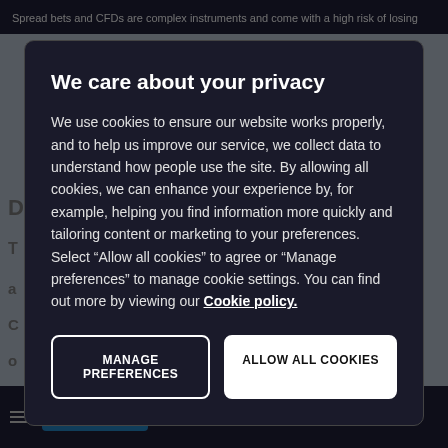Spread bets and CFDs are complex instruments and come with a high risk of losing
We care about your privacy
We use cookies to ensure our website works properly, and to help us improve our service, we collect data to understand how people use the site. By allowing all cookies, we can enhance your experience by, for example, helping you find information more quickly and tailoring content or marketing to your preferences. Select “Allow all cookies” to agree or “Manage preferences” to manage cookie settings. You can find out more by viewing our Cookie policy.
MANAGE PREFERENCES
ALLOW ALL COOKIES
Positions (5)   Orders (0)   History